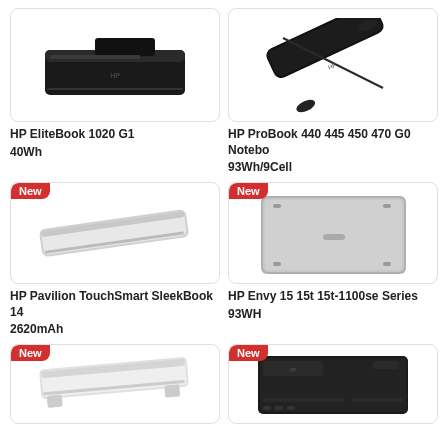[Figure (photo): HP EliteBook 1020 G1 laptop battery, black flat rectangular battery pack]
HP EliteBook 1020 G1
40Wh
[Figure (photo): HP ProBook 440 445 450 470 G0 Notebo laptop battery, black cylindrical battery]
HP ProBook 440 445 450 470 G0 Notebo
93Wh/9Cell
[Figure (photo): HP Pavilion TouchSmart SleekBook 14 battery, silver/white slim battery, New badge]
HP Pavilion TouchSmart SleekBook 14
2620mAh
[Figure (photo): HP Envy 15 15t 15t-1100se Series, silver laptop bottom cover/battery, New badge]
HP Envy 15 15t 15t-1100se Series
93WH
[Figure (photo): HP laptop battery bottom row left, white/silver slim battery, New badge]
[Figure (photo): HP laptop battery bottom row right, dark flat battery pack, New badge]